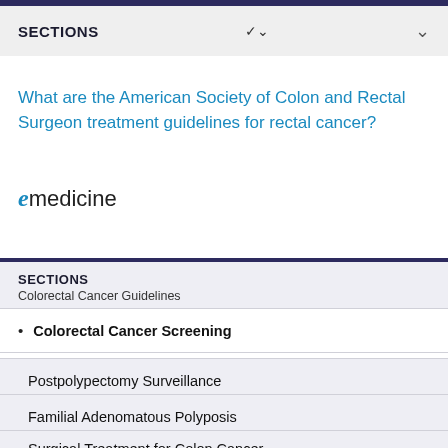SECTIONS
What are the American Society of Colon and Rectal Surgeon treatment guidelines for rectal cancer?
[Figure (logo): eMedicine logo with stylized italic 'e' in blue and 'medicine' in dark text]
SECTIONS
Colorectal Cancer Guidelines
Colorectal Cancer Screening
Postpolypectomy Surveillance
Familial Adenomatous Polyposis
Surgical Treatment for Colon Cancer